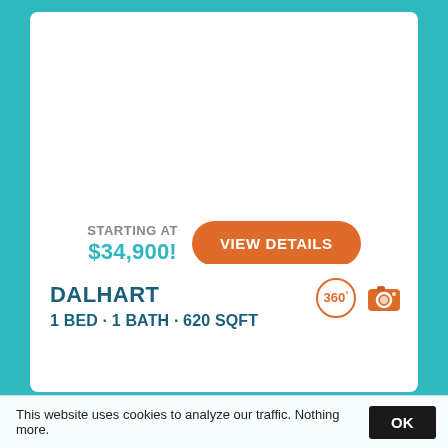STARTING AT $34,900!
VIEW DETAILS
DALHART
1 BED · 1 BATH · 620 SQFT
This website uses cookies to analyze our traffic. Nothing more.
OK